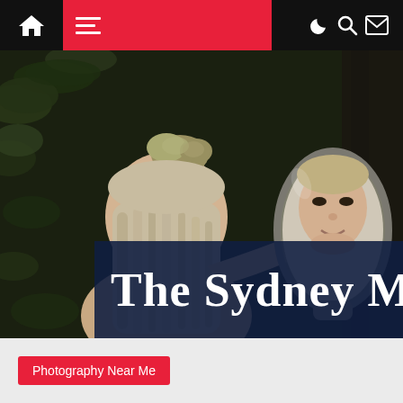Navigation bar with home, menu, night mode, search, and mail icons
[Figure (photo): A woman with blonde hair and a bun on top of her head looking into a hand mirror reflecting her face, photographed from behind against a dark leafy background. Below the photo is a partially visible Sydney Morning Herald masthead banner.]
Photography Near Me